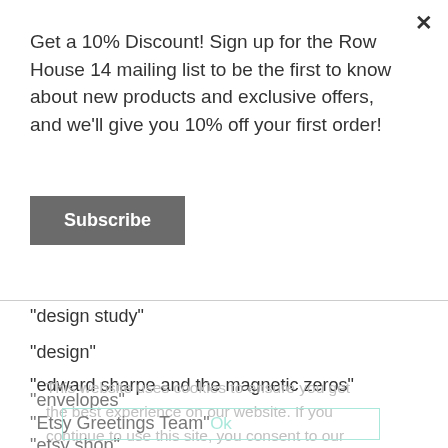Get a 10% Discount! Sign up for the Row House 14 mailing list to be the first to know about new products and exclusive offers, and we'll give you 10% off your first order!
Subscribe
"design study"
"design"
"edward sharpe and the magnetic zeros"
"envelopes"
"Etsy Greetings Team"
"etsy shop"
"Etsy"
"fashion"
"film"
"Find"
This website uses cookies to ensure you get the best experience on our website. If you continue to use this site, you consent to our use of cookies. Learn More
Ok